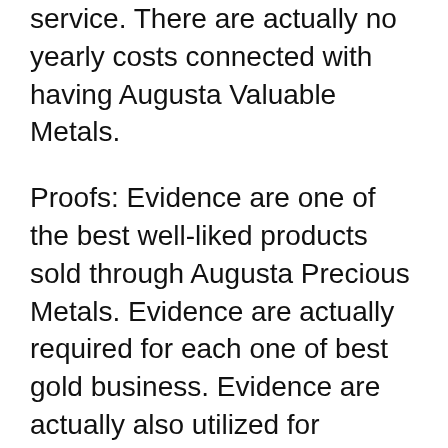service. There are actually no yearly costs connected with having Augusta Valuable Metals.
Proofs: Evidence are one of the best well-liked products sold through Augusta Precious Metals. Evidence are actually required for each one of best gold business. Evidence are actually also utilized for confirming platinum eagle as well as palladium to stores, and to shoppers that buy from on-line shops. There are no yearly fees connected with possessing Augusta Rare-earth Elements, and there is a straightforward bookkeeping device demanded for all of your transactions.
Investing in gold and silvers may be a simple procedure, or even it could be a challenging